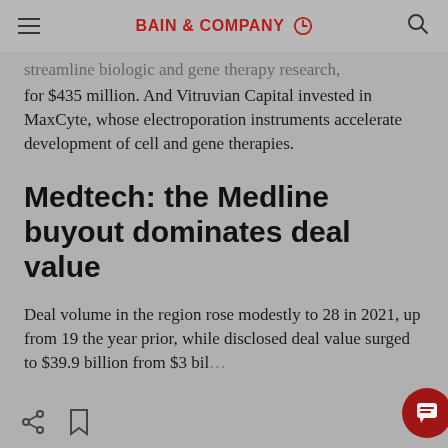BAIN & COMPANY
streamline biologic and gene therapy research, for $435 million. And Vitruvian Capital invested in MaxCyte, whose electroporation instruments accelerate development of cell and gene therapies.
Medtech: the Medline buyout dominates deal value
Deal volume in the region rose modestly to 28 in 2021, up from 19 the year prior, while disclosed deal value surged to $39.9 billion from $3 bil…